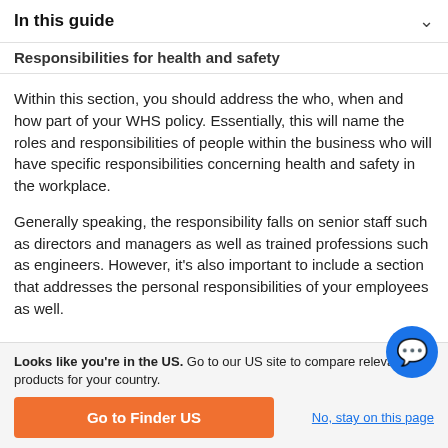In this guide
Responsibilities for health and safety
Within this section, you should address the who, when and how part of your WHS policy. Essentially, this will name the roles and responsibilities of people within the business who will have specific responsibilities concerning health and safety in the workplace.
Generally speaking, the responsibility falls on senior staff such as directors and managers as well as trained professions such as engineers. However, it's also important to include a section that addresses the personal responsibilities of your employees as well.
Looks like you're in the US. Go to our US site to compare relevant products for your country.
Go to Finder US
No, stay on this page